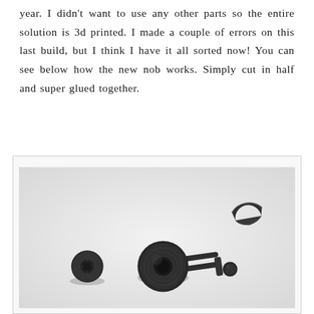year. I didn't want to use any other parts so the entire solution is 3d printed. I made a couple of errors on this last build, but I think I have it all sorted now! You can see below how the new nob works. Simply cut in half and super glued together.
[Figure (photo): Photo of 3D printed parts on a light gray background: a small circular disc on the left, a knob/arm assembly in the center (round knob with a connecting arm and small ball end), and a half-moon shaped piece on the upper right.]